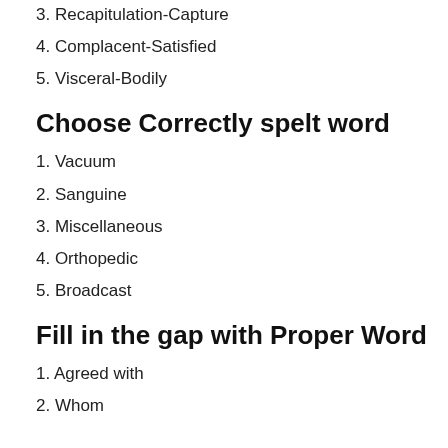3. Recapitulation-Capture
4. Complacent-Satisfied
5. Visceral-Bodily
Choose Correctly spelt word
1. Vacuum
2. Sanguine
3. Miscellaneous
4. Orthopedic
5. Broadcast
Fill in the gap with Proper Word
1. Agreed with
2. Whom